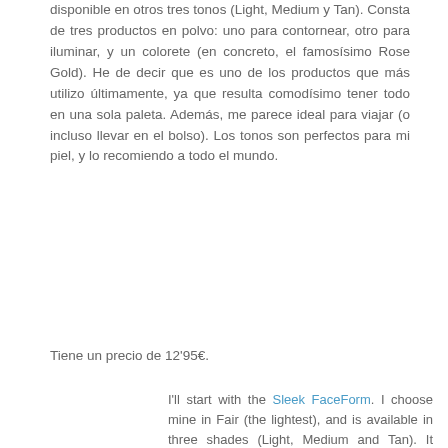disponible en otros tres tonos (Light, Medium y Tan). Consta de tres productos en polvo: uno para contornear, otro para iluminar, y un colorete (en concreto, el famosísimo Rose Gold). He de decir que es uno de los productos que más utilizo últimamente, ya que resulta comodísimo tener todo en una sola paleta. Además, me parece ideal para viajar (o incluso llevar en el bolso). Los tonos son perfectos para mi piel, y lo recomiendo a todo el mundo.
Tiene un precio de 12'95€.
I'll start with the Sleek FaceForm. I choose mine in Fair (the lightest), and is available in three shades (Light, Medium and Tan). It consists of three powder products: one contouring shade, another to illuminate, and a beautiful blush (specifically, the ultra famous Rose Gold). I must say that is one of the products I've